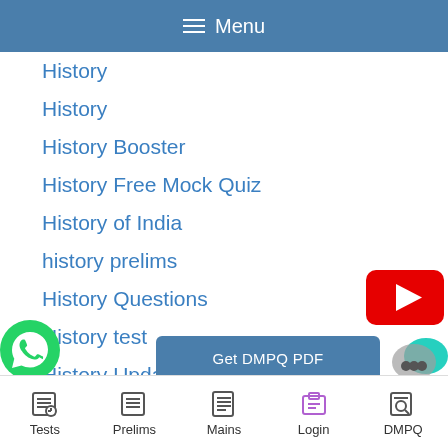≡ Menu
History
History
History Booster
History Free Mock Quiz
History of India
history prelims
History Questions
History test
History Updated
ICT
ndian Constitution
[Figure (logo): YouTube play button logo]
Get DMPQ PDF
[Figure (logo): WhatsApp green phone icon]
[Figure (screenshot): Chat bubble overlay icon]
Tests  Prelims  Mains  Login  DMPQ